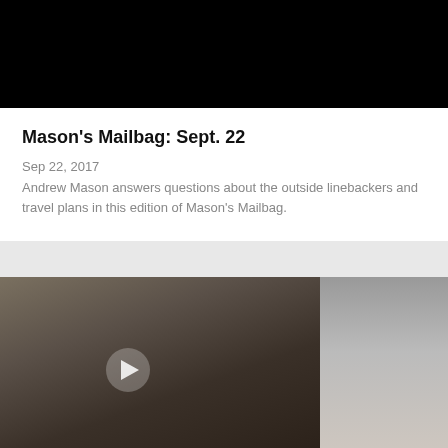[Figure (photo): Black bar at top of page, likely cropped video/image header]
Mason's Mailbag: Sept. 22
Sep 22, 2017
Andrew Mason answers questions about the outside linebackers and travel plans in this edition of Mason's Mailbag.
[Figure (photo): Video thumbnail showing a man in a suit at a press conference with a play button overlay; a blurred second image is partially visible to the right]